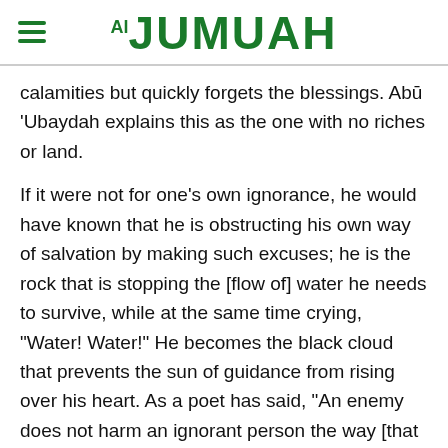Al-Jumuah
calamities but quickly forgets the blessings. Abū 'Ubaydah explains this as the one with no riches or land.
If it were not for one's own ignorance, he would have known that he is obstructing his own way of salvation by making such excuses; he is the rock that is stopping the [flow of] water he needs to survive, while at the same time crying, “Water! Water!” He becomes the black cloud that prevents the sun of guidance from rising over his heart. As a poet has said, “An enemy does not harm an ignorant person the way [that person] harms himself.”
Woe to him! An oppressor in the guise of oppressed!